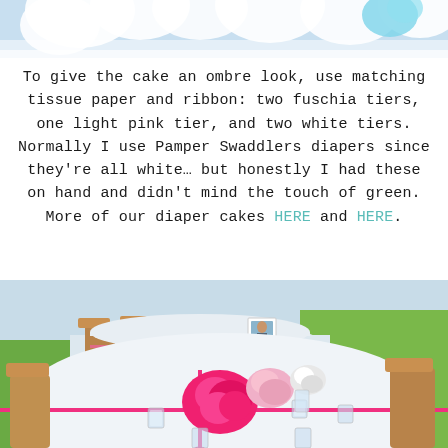[Figure (photo): Top portion of a photo showing white paper flower decorations against a light blue sky background]
To give the cake an ombre look, use matching tissue paper and ribbon: two fuschia tiers, one light pink tier, and two white tiers. Normally I use Pamper Swaddlers diapers since they’re all white… but honestly I had these on hand and didn’t mind the touch of green.
More of our diaper cakes HERE and HERE.
[Figure (photo): Outdoor party table with white tablecloth decorated with pink ribbon and large hot pink and light pink tissue paper flower pompoms, small glass votive candles, and a framed photo, surrounded by wooden folding chairs on green grass]